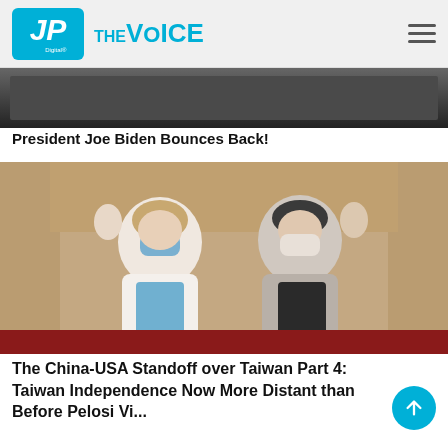JP Digital The Voice
[Figure (photo): Top of article page showing a partially visible photo above the fold, dark background]
President Joe Biden Bounces Back!
[Figure (photo): Two women wearing masks waving, one in white jacket (Nancy Pelosi) and one in grey suit, standing in a room with a stage curtain background]
The China-USA Standoff over Taiwan Part 4: Taiwan Independence Now More Distant than Before Pelosi Vi...